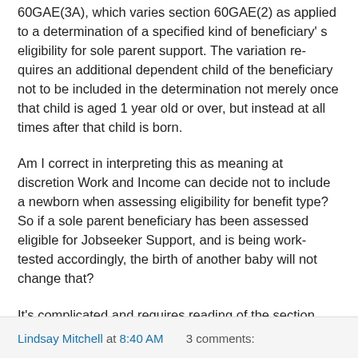60GAE(3A), which varies section 60GAE(2) as applied to a determination of a specified kind of beneficiary's eligibility for sole parent support. The variation requires an additional dependent child of the beneficiary not to be included in the determination not merely once that child is aged 1 year old or over, but instead at all times after that child is born.
Am I correct in interpreting this as meaning at discretion Work and Income can decide not to include a newborn when assessing eligibility for benefit type? So if a sole parent beneficiary has been assessed eligible for Jobseeker Support, and is being work-tested accordingly, the birth of another baby will not change that?
It's complicated and requires reading of the section from pg 16-17
Lindsay Mitchell at 8:40 AM   3 comments: